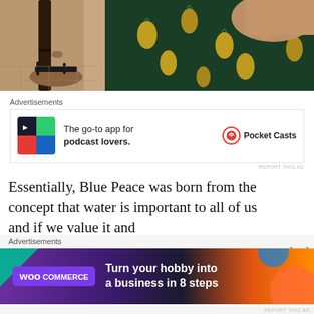[Figure (photo): Photo showing legs of a person wearing sandals with a tattoo visible, and a pineapple-patterned dress/fabric, seated on a chair in a tiled indoor setting.]
Advertisements
[Figure (other): Advertisement for Pocket Casts app: colorful quadrant icon, text reading 'The go-to app for podcast lovers.' with Pocket Casts logo and circular icon.]
REPORT THIS AD
Essentially, Blue Peace was born from the concept that water is important to all of us and if we value it and
Advertisements
[Figure (other): Advertisement for WooCommerce: purple/dark gradient background with teal and orange shapes, WooCommerce logo, text 'Turn your hobby into a business in 8 steps']
REPORT THIS AD